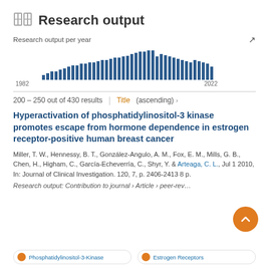Research output
[Figure (bar-chart): Research output per year]
200 – 250 out of 430 results
Hyperactivation of phosphatidylinositol-3 kinase promotes escape from hormone dependence in estrogen receptor-positive human breast cancer
Miller, T. W., Hennessy, B. T., González-Angulo, A. M., Fox, E. M., Mills, G. B., Chen, H., Higham, C., García-Echeverría, C., Shyr, Y. & Arteaga, C. L., Jul 1 2010, In: Journal of Clinical Investigation. 120, 7, p. 2406-2413 8 p.
Research output: Contribution to journal › Article › peer-rev…